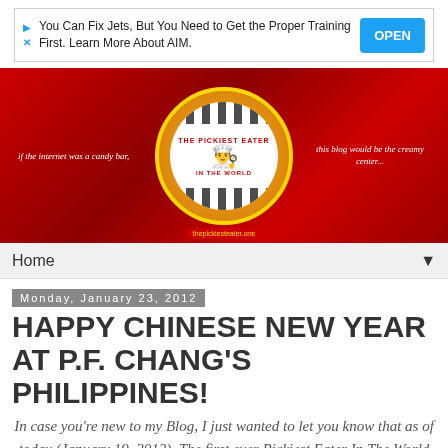[Figure (other): Advertisement banner with play icon and X icon, text about fixing jets and AIM training, with blue OPEN button]
[Figure (other): Website header banner for 'The Pickiest Eater In The World' blog with red background, circular logo with mascot chef character, checkered pattern, and tagline text on both sides]
Home
Monday, January 23, 2012
HAPPY CHINESE NEW YEAR AT P.F. CHANG'S PHILIPPINES!
In case you're new to my Blog, I just wanted to let you know that as of today (January 19, 2012), The first ever Pickiest Eater In The World Contest Giveaway is underway, and you